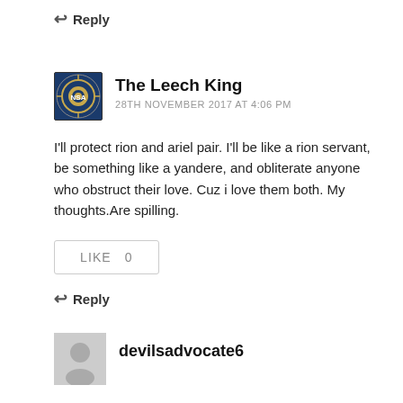↩ Reply
The Leech King
28TH NOVEMBER 2017 AT 4:06 PM
I'll protect rion and ariel pair. I'll be like a rion servant, be something like a yandere, and obliterate anyone who obstruct their love. Cuz i love them both. My thoughts.Are spilling.
LIKE   0
↩ Reply
devilsadvocate6